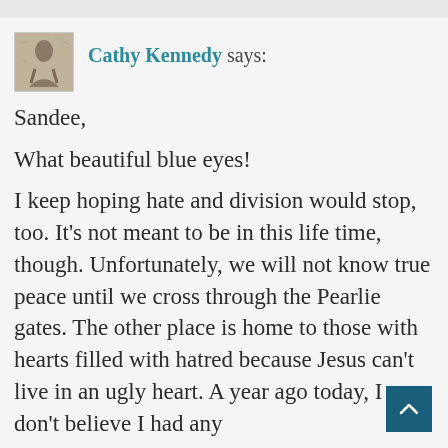[Figure (photo): Small avatar photo of a person, sepia/grayscale tone]
Cathy Kennedy says:
Sandee,

What beautiful blue eyes!

I keep hoping hate and division would stop, too. It’s not meant to be in this life time, though. Unfortunately, we will not know true peace until we cross through the Pearlie gates. The other place is home to those with hearts filled with hatred because Jesus can’t live in an ugly heart. A year ago today, I don’t believe I had any